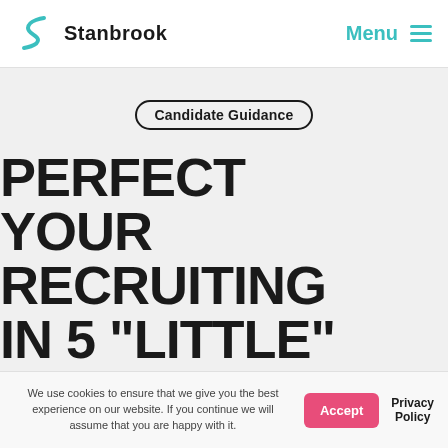Stanbrook  Menu
Candidate Guidance
PERFECT YOUR RECRUITING IN 5 "LITTLE" STEPS
We use cookies to ensure that we give you the best experience on our website. If you continue we will assume that you are happy with it.